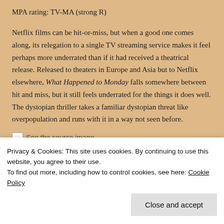MPA rating: TV-MA (strong R)
Netflix films can be hit-or-miss, but when a good one comes along, its relegation to a single TV streaming service makes it feel perhaps more underrated than if it had received a theatrical release. Released to theaters in Europe and Asia but to Netflix elsewhere, What Happened to Monday falls somewhere between hit and miss, but it still feels underrated for the things it does well. The dystopian thriller takes a familiar dystopian threat like overpopulation and runs with it in a way not seen before.
[Figure (other): See the source image link with small thumbnail icon]
Privacy & Cookies: This site uses cookies. By continuing to use this website, you agree to their use.
To find out more, including how to control cookies, see here: Cookie Policy
Close and accept